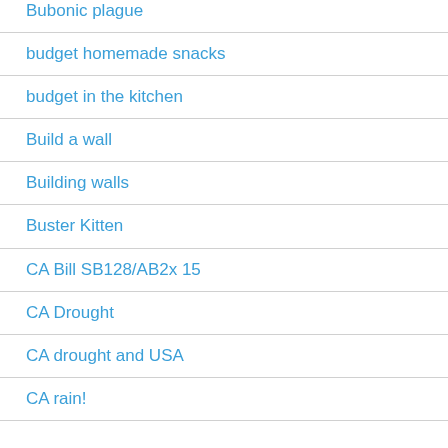Bubonic plague
budget homemade snacks
budget in the kitchen
Build a wall
Building walls
Buster Kitten
CA Bill SB128/AB2x 15
CA Drought
CA drought and USA
CA rain!